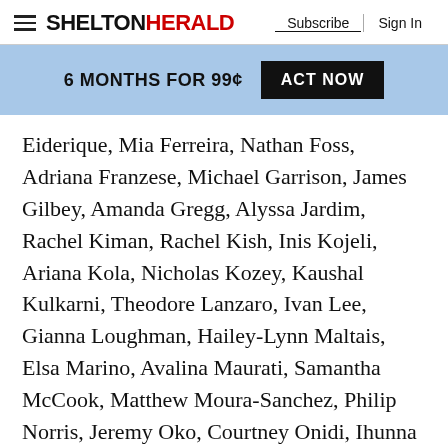Shelton Herald — Subscribe | Sign In
6 MONTHS FOR 99¢  ACT NOW
Eiderique, Mia Ferreira, Nathan Foss, Adriana Franzese, Michael Garrison, James Gilbey, Amanda Gregg, Alyssa Jardim, Rachel Kiman, Rachel Kish, Inis Kojeli, Ariana Kola, Nicholas Kozey, Kaushal Kulkarni, Theodore Lanzaro, Ivan Lee, Gianna Loughman, Hailey-Lynn Maltais, Elsa Marino, Avalina Maurati, Samantha McCook, Matthew Moura-Sanchez, Philip Norris, Jeremy Oko, Courtney Onidi, Ihunna Onyekachiuzoamaka, Emily Pettinella, Julia Pulley, Jillian Rampino, Brendan Reilly, Alexis